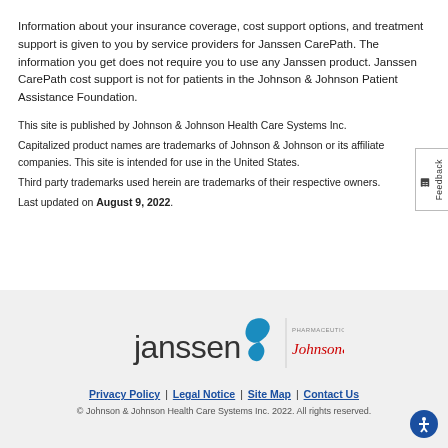Information about your insurance coverage, cost support options, and treatment support is given to you by service providers for Janssen CarePath. The information you get does not require you to use any Janssen product. Janssen CarePath cost support is not for patients in the Johnson & Johnson Patient Assistance Foundation.
This site is published by Johnson & Johnson Health Care Systems Inc.
Capitalized product names are trademarks of Johnson & Johnson or its affiliate companies. This site is intended for use in the United States.
Third party trademarks used herein are trademarks of their respective owners.
Last updated on August 9, 2022.
[Figure (logo): Janssen Pharmaceutical Companies of Johnson & Johnson logo]
Privacy Policy | Legal Notice | Site Map | Contact Us
© Johnson & Johnson Health Care Systems Inc. 2022. All rights reserved.